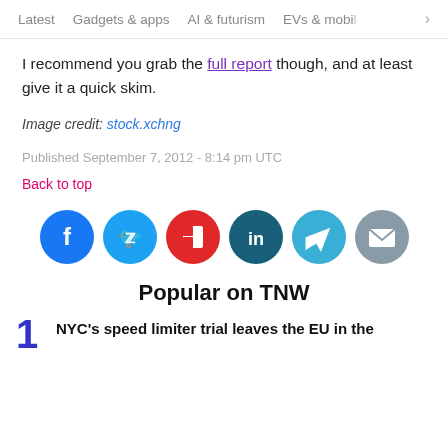Latest   Gadgets & apps   AI & futurism   EVs & mobil  >
I recommend you grab the full report though, and at least give it a quick skim.
Image credit: stock.xchng
Published September 7, 2012 - 8:14 pm UTC
Back to top
[Figure (infographic): Row of 6 social media share buttons: Facebook (blue), Twitter (light blue), Flipboard (red), LinkedIn (teal), Telegram (light blue), Email (grey)]
Popular on TNW
1  NYC's speed limiter trial leaves the EU in the